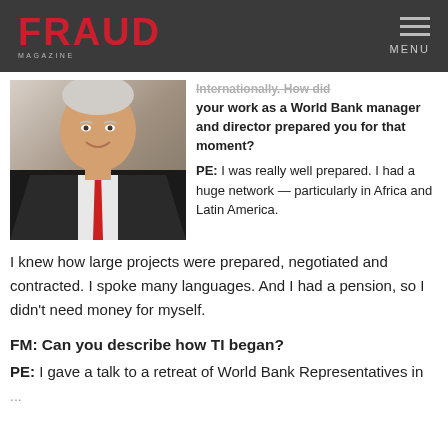FRAUD MAGAZINE — MENU
[Figure (photo): Older man in dark suit with red tie, smiling, photographed from slightly below]
...How did your work as a World Bank manager and director prepared you for that moment? PE: I was really well prepared. I had a huge network — particularly in Africa and Latin America. I knew how large projects were prepared, negotiated and contracted. I spoke many languages. And I had a pension, so I didn't need money for myself.
FM: Can you describe how TI began?
PE: I gave a talk to a retreat of World Bank Representatives in...